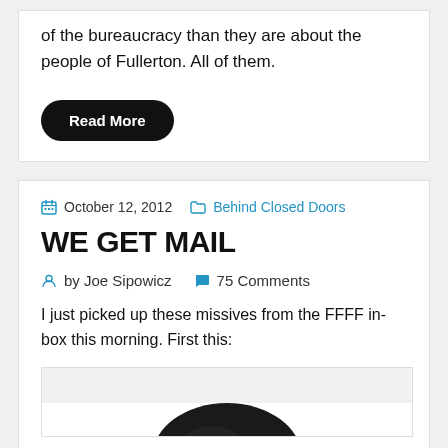of the bureaucracy than they are about the people of Fullerton. All of them.
Read More
October 12, 2012   Behind Closed Doors
WE GET MAIL
by Joe Sipowicz   75 Comments
I just picked up these missives from the FFFF in-box this morning. First this:
[Figure (photo): Partial view of a person's head with dark hair, black and white photo, cropped at bottom of page]